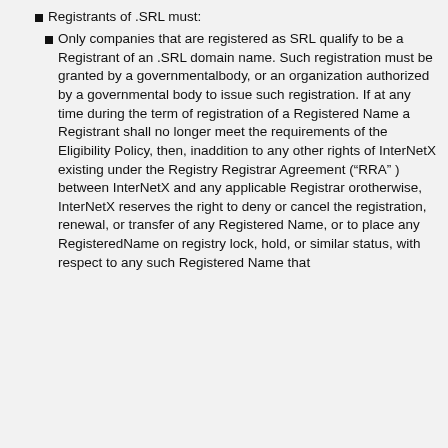Registrants of .SRL must:
Only companies that are registered as SRL qualify to be a Registrant of an .SRL domain name. Such registration must be granted by a governmentalbody, or an organization authorized by a governmental body to issue such registration. If at any time during the term of registration of a Registered Name a Registrant shall no longer meet the requirements of the Eligibility Policy, then, inaddition to any other rights of InterNetX existing under the Registry Registrar Agreement (â€œRRAâ€Â ) between InterNetX and any applicable Registrar orotherwise, InterNetX reserves the right to deny or cancel the registration, renewal, or transfer of any Registered Name, or to place any RegisteredName on registry lock, hold, or similar status, with respect to any such Registered Name that